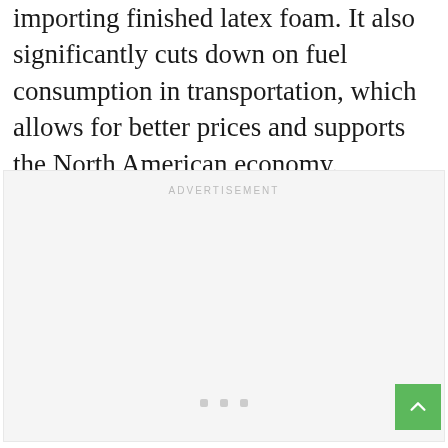importing finished latex foam. It also significantly cuts down on fuel consumption in transportation, which allows for better prices and supports the North American economy.
[Figure (other): Advertisement placeholder box with 'ADVERTISEMENT' label at top center, three small square dots at bottom center, and a green back-to-top button in the bottom right corner.]